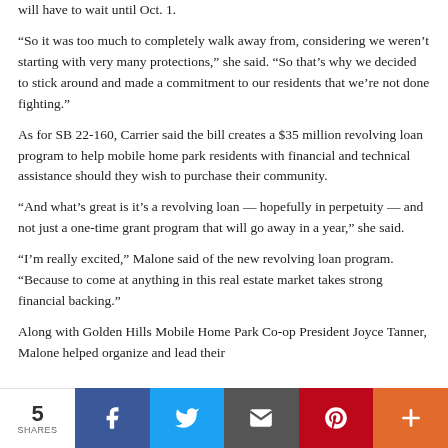will have to wait until Oct. 1.
“So it was too much to completely walk away from, considering we weren’t starting with very many protections,” she said. “So that’s why we decided to stick around and made a commitment to our residents that we’re not done fighting.”
As for SB 22-160, Carrier said the bill creates a $35 million revolving loan program to help mobile home park residents with financial and technical assistance should they wish to purchase their community.
“And what’s great is it’s a revolving loan — hopefully in perpetuity — and not just a one-time grant program that will go away in a year,” she said.
“I’m really excited,” Malone said of the new revolving loan program. “Because to come at anything in this real estate market takes strong financial backing.”
Along with Golden Hills Mobile Home Park Co-op President Joyce Tanner, Malone helped organize and lead their
5 SHARES | Facebook | Twitter | Email | Pinterest | More